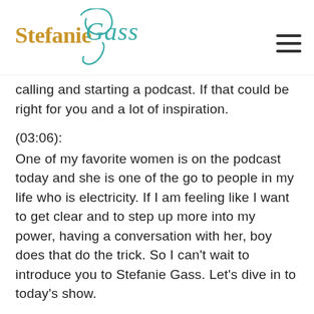[Figure (logo): Stefanie Gass logo with teal cursive script and gold/brown text]
calling and starting a podcast. If that could be right for you and a lot of inspiration.
(03:06):
One of my favorite women is on the podcast today and she is one of the go to people in my life who is electricity. If I am feeling like I want to get clear and to step up more into my power, having a conversation with her, boy does that do the trick. So I can't wait to introduce you to Stefanie Gass. Let's dive in to today's show.